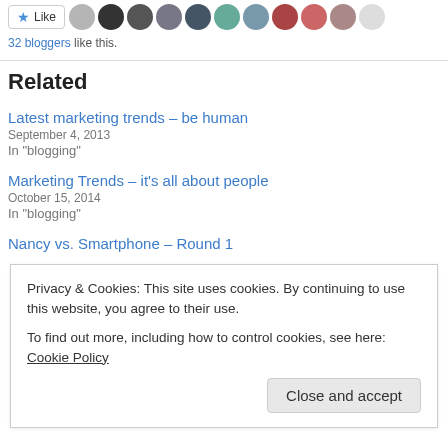[Figure (other): Like button and row of blogger avatar photos]
32 bloggers like this.
Related
Latest marketing trends – be human
September 4, 2013
In "blogging"
Marketing Trends – it's all about people
October 15, 2014
In "blogging"
Nancy vs. Smartphone – Round 1
Privacy & Cookies: This site uses cookies. By continuing to use this website, you agree to their use.
To find out more, including how to control cookies, see here: Cookie Policy